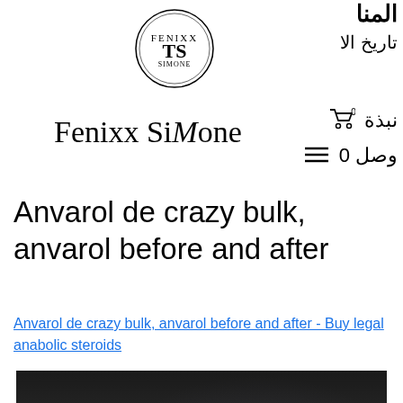[Figure (logo): Circular logo with stylized 'TS' or similar initials inside a circle, decorative border]
Fenixx SiMone
Arabic header text (right side): partial word top right, تاريخ الا, نبذة with cart icon 0, وصل 0 with menu icon
Anvarol de crazy bulk, anvarol before and after
Anvarol de crazy bulk, anvarol before and after - Buy legal anabolic steroids
[Figure (photo): Dark blurred photograph, appears to show a person or product against a very dark background]